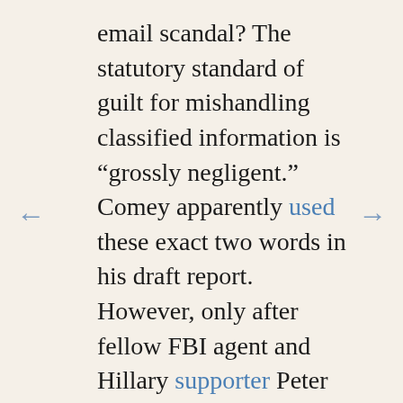email scandal? The statutory standard of guilt for mishandling classified information is “grossly negligent.” Comey apparently used these exact two words in his draft report. However, only after fellow FBI agent and Hillary supporter Peter Strzok pointed out this established Hillary’s guilt did Comey look for a more palatable synonym – one lacking an indisputable guilt descriptor. Thus, his final report determined Hillary’s conduct was